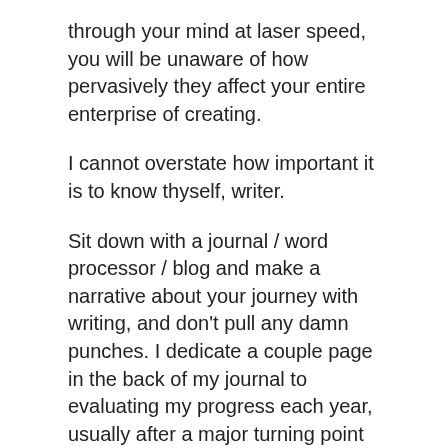through your mind at laser speed, you will be unaware of how pervasively they affect your entire enterprise of creating.
I cannot overstate how important it is to know thyself, writer.
Sit down with a journal / word processor / blog and make a narrative about your journey with writing, and don't pull any damn punches. I dedicate a couple page in the back of my journal to evaluating my progress each year, usually after a major turning point in my writing. Major turning points are when I decide to start a new project, finish an old one, shelve a project indefinitely, start a new blog, explore a new genre, find a new writing group.
Keeping abreast of all of your writing activities helps with your honesty. If, like me, you bemoan the lack of writing in